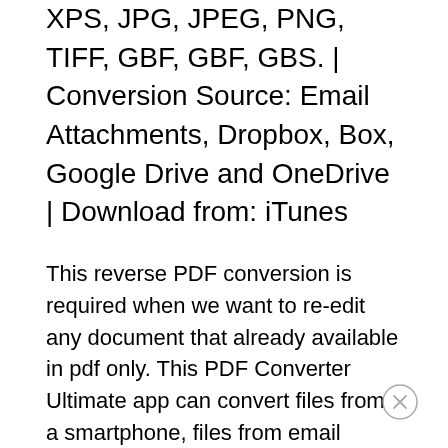XPS, JPG, JPEG, PNG, TIFF, GIF, GBF, GBS. | Conversion Source: Email Attachments, Dropbox, Box, Google Drive and OneDrive | Download from: iTunes
This reverse PDF conversion is required when we want to re-edit any document that already available in pdf only. This PDF Converter Ultimate app can convert files from a smartphone, files from email attachments or files from cloud services like Dropbox, Box, Google Drive and OneDrive directly.
Let’s start off by tackling PDF to Word conversion. This is the most sought for conversion when it comes to mobile apps since it is very easy and efficient to handle Word files on your tablets and mobile devices.
How to use PDF Converter Ultimate
You will want to start with opening the